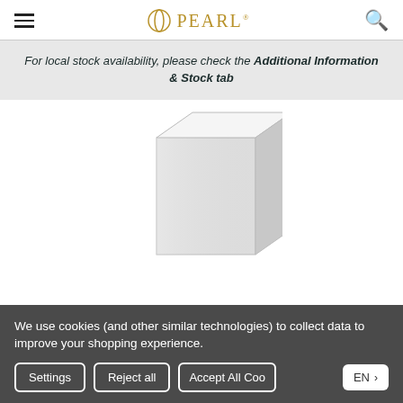Pearl (logo with hamburger menu and search icon)
For local stock availability, please check the Additional Information & Stock tab
[Figure (photo): A silver/white tall rectangular product box or pedestal photographed on a white background]
We use cookies (and other similar technologies) to collect data to improve your shopping experience.
Settings | Reject all | Accept All Cookies | EN >